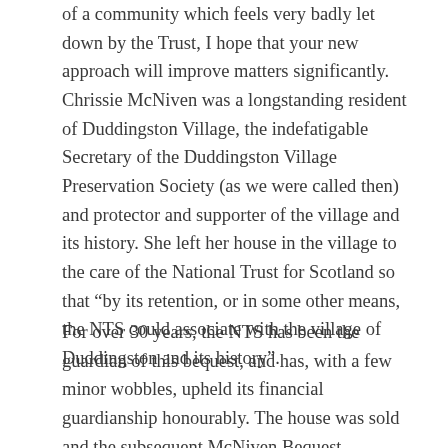of a community which feels very badly let down by the Trust, I hope that your new approach will improve matters significantly. Chrissie McNiven was a longstanding resident of Duddingston Village, the indefatigable Secretary of the Duddingston Village Preservation Society (as we were called then) and protector and supporter of the village and its history. She left her house in the village to the care of the National Trust for Scotland so that “by its retention, or in some other means, the NTS could associate with the village of Duddingston and its history”.
For over 30 years, the NTS has been the guardian of this bequest, and has, with a few minor wobbles, upheld its financial guardianship honourably. The house was sold and the subsequent McNiven Bequest